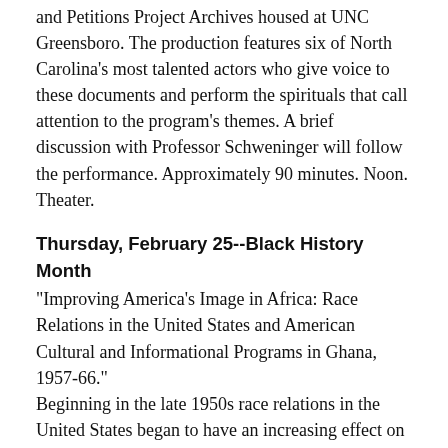and Petitions Project Archives housed at UNC Greensboro. The production features six of North Carolina's most talented actors who give voice to these documents and perform the spirituals that call attention to the program's themes. A brief discussion with Professor Schweninger will follow the performance. Approximately 90 minutes. Noon. Theater.
Thursday, February 25--Black History Month
"Improving America's Image in Africa: Race Relations in the United States and American Cultural and Informational Programs in Ghana, 1957-66."
Beginning in the late 1950s race relations in the United States began to have an increasing effect on how foreigners viewed the nation. Accordingly, the United States Information Agency (USIA) developed programs designed to show that the position of African Americans was improving. Today's lecturer, Kenneth W. Heger, will focus on Ghana, the first nation to receive independence in sub-Saharan Africa, as a model for these programs. Mr. Heger, an archivist with the National Archives, holds a Ph.D. in history and works with